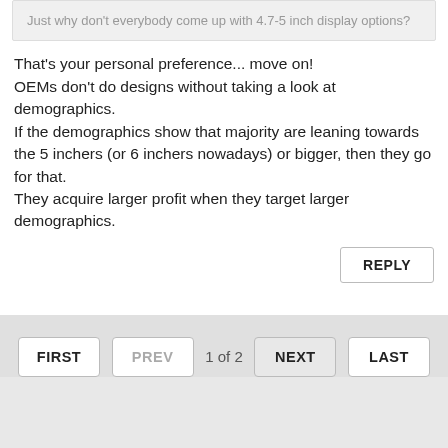Just why don't everybody come up with 4.7-5 inch display options?
That's your personal preference... move on!
OEMs don't do designs without taking a look at demographics.
If the demographics show that majority are leaning towards the 5 inchers (or 6 inchers nowadays) or bigger, then they go for that.
They acquire larger profit when they target larger demographics.
REPLY
FIRST
PREV
1 of 2
NEXT
LAST